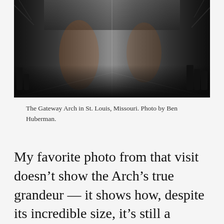[Figure (photo): Close-up photograph of the reflective stainless steel surface of the Gateway Arch in St. Louis, Missouri. The metallic surface reflects surrounding trees and people. Silhouettes of visitors are visible at the base. The image is taken from ground level looking up at the arch legs.]
The Gateway Arch in St. Louis, Missouri. Photo by Ben Huberman.
My favorite photo from that visit doesn't show the Arch's true grandeur — it shows how, despite its incredible size, it's still a human monument, one created by and for others like